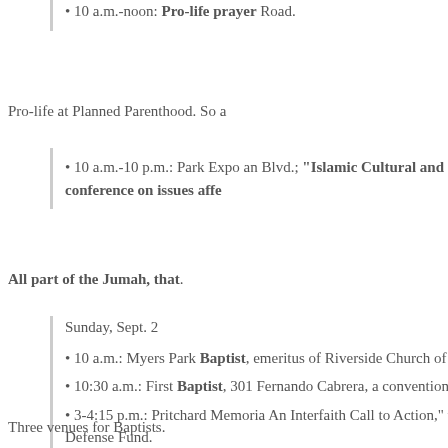• 10 a.m.-noon: Pro-life prayer Road.
Pro-life at Planned Parenthood. So a
• 10 a.m.-10 p.m.: Park Expo an Blvd.; "Islamic Cultural and Fu hall conference on issues affe
All part of the Jumah, that.
Sunday, Sept. 2
• 10 a.m.: Myers Park Baptist, emeritus of Riverside Church of nation.
• 10:30 a.m.: First Baptist, 301 Fernando Cabrera, a convention
• 3-4:15 p.m.: Pritchard Memoria An Interfaith Call to Action," with Defense Fund.
Three venues for Baptists.